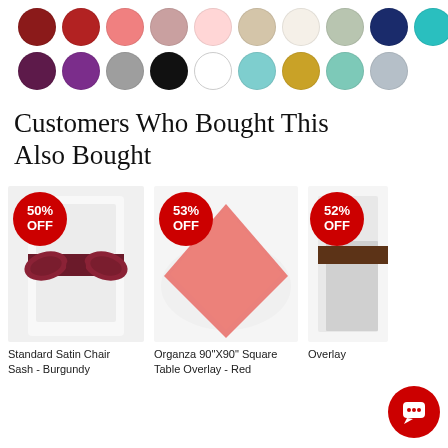[Figure (illustration): Two rows of color swatches as circles. Row 1: dark red, crimson, salmon/coral, mauve/pink, light pink, tan/beige, ivory/cream, sage/light gray-green, navy blue, teal, light blue/periwinkle. Row 2: plum/eggplant, dark purple, gray, black, white, mint/seafoam, gold/mustard, light teal, silver/light gray.]
Customers Who Bought This Also Bought
[Figure (photo): Standard Satin Chair Sash in Burgundy draped over a white chair back tied in a bow. 50% OFF badge.]
[Figure (photo): Organza 90"X90" Square Table Overlay in Red/coral color on a white round table. 53% OFF badge.]
[Figure (photo): Partial product image showing an overlay on a chair, 52% OFF badge visible.]
Standard Satin Chair Sash - Burgundy
Organza 90"X90" Square Table Overlay - Red
Overlay